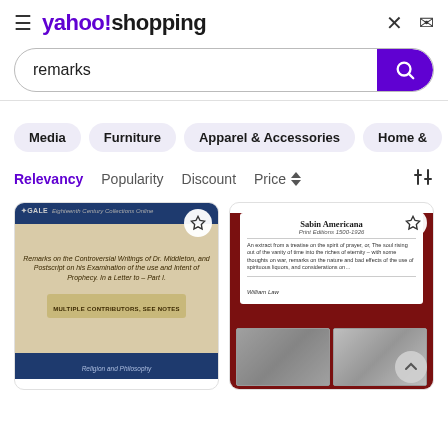yahoo!shopping
remarks
Media
Furniture
Apparel & Accessories
Home &
Relevancy  Popularity  Discount  Price
[Figure (photo): Book cover: Remarks on the Controversial Writings of Dr. Middleton, and Postscript on his Examination of the use and Intent of Prophecy. In a Letter to – Part I. Multiple Contributors, See Notes. Religion and Philosophy.]
[Figure (photo): Book cover: Sabin Americana, Print Editions 1500-1926. An extract from a treatise on the spirit of prayer, or, The soul rising out of the vanity of time into the riches of eternity... by William Law.]